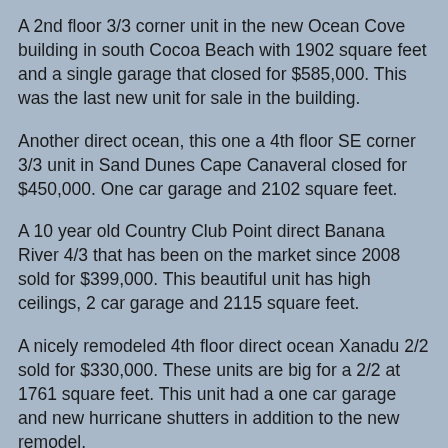A 2nd floor 3/3 corner unit in the new Ocean Cove building in south Cocoa Beach with 1902 square feet and a single garage that closed for $585,000. This was the last new unit for sale in the building.
Another direct ocean, this one a 4th floor SE corner 3/3 unit in Sand Dunes Cape Canaveral closed for $450,000. One car garage and 2102 square feet.
A 10 year old Country Club Point direct Banana River 4/3 that has been on the market since 2008 sold for $399,000. This beautiful unit has high ceilings, 2 car garage and 2115 square feet.
A nicely remodeled 4th floor direct ocean Xanadu 2/2 sold for $330,000. These units are big for a 2/2 at 1761 square feet. This unit had a one car garage and new hurricane shutters in addition to the new remodel.
River Bend in south Cocoa Beach was on fire last month with several closed sales. Another  unit has closed so far this month. This one a 3rd floor direct river 3/2 with 2050 square